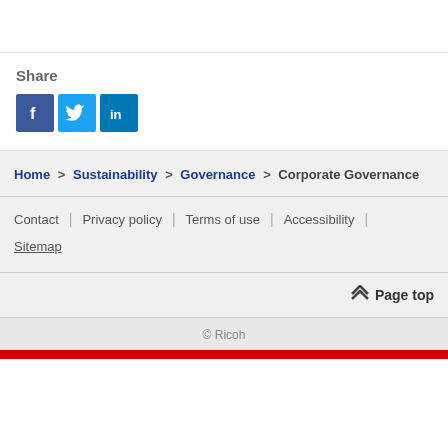Share
[Figure (infographic): Social media share icons: Facebook (blue square with f), Twitter (light blue square with bird), LinkedIn (teal square with in)]
Home > Sustainability > Governance > Corporate Governance
Contact | Privacy policy | Terms of use | Accessibility | Sitemap
Page top
© Ricoh